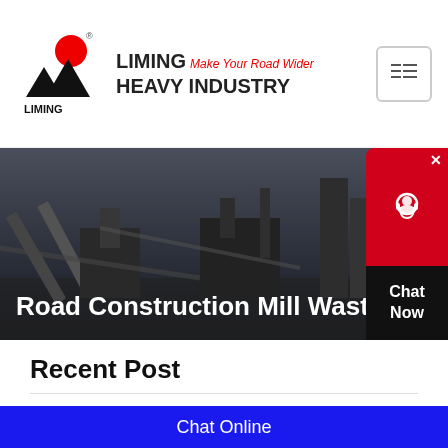[Figure (logo): Liming Heavy Industry logo with red circle and black mountain shapes, company name and tagline 'Make Your Road Wider']
[Figure (photo): Industrial construction site with conveyor belts, crushers, and heavy machinery against a dark sky backdrop]
Road Construction Mill Waste
Recent Post
Crawler Mobile Crusher
MTW-Z European Trapezium-Mill
K Series Mobile Crushing Plant
Chat Online